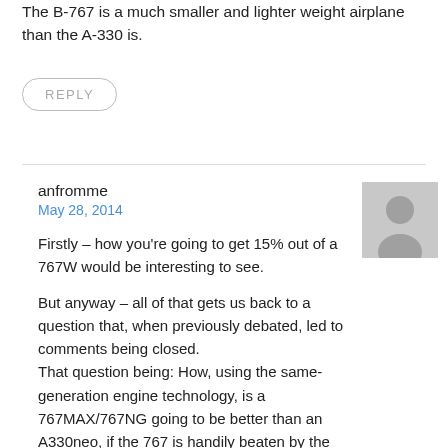The B-767 is a much smaller and lighter weight airplane than the A-330 is.
REPLY
anfromme
May 28, 2014
[Figure (illustration): Generic user avatar placeholder — grey silhouette of a person on grey background]
Firstly – how you're going to get 15% out of a 767W would be interesting to see.
But anyway – all of that gets us back to a question that, when previously debated, led to comments being closed. That question being: How, using the same-generation engine technology, is a 767MAX/767NG going to be better than an A330neo, if the 767 is handily beaten by the A330ceo.